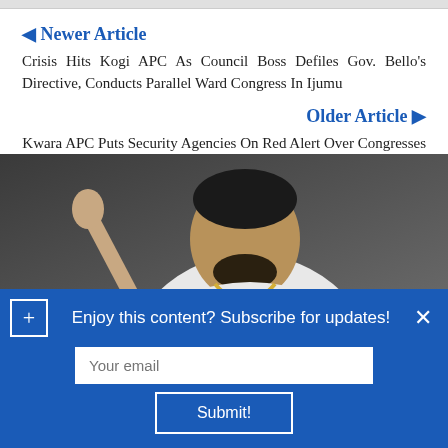◀ Newer Article
Crisis Hits Kogi APC As Council Boss Defiles Gov. Bello's Directive, Conducts Parallel Ward Congress In Ijumu
Older Article ▶
Kwara APC Puts Security Agencies On Red Alert Over Congresses
[Figure (photo): A young man in a white outfit wearing gold chains, posing against a dark grey background]
Enjoy this content? Subscribe for updates!
Your email
Submit!